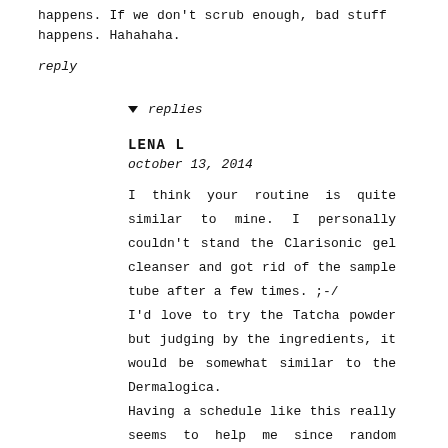happens. If we don't scrub enough, bad stuff happens. Hahahaha.
reply
▾ replies
LENA L
october 13, 2014
I think your routine is quite similar to mine. I personally couldn't stand the Clarisonic gel cleanser and got rid of the sample tube after a few times. ;-/ I'd love to try the Tatcha powder but judging by the ingredients, it would be somewhat similar to the Dermalogica. Having a schedule like this really seems to help me since random scrubbings could be dangerous(?). I often ended up using two physical exfoliators in a row or something, which is not good at all!